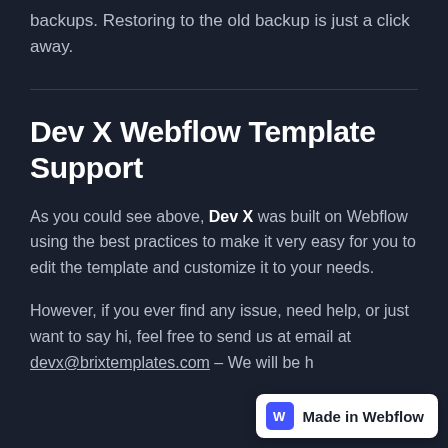backups. Restoring to the old backup is just a click away.
Dev X Webflow Template Support
As you could see above, Dev X was built on Webflow using the best practices to make it very easy for you to edit the template and customize it to your needs.
However, if you ever find any issue, need help, or just want to say hi, feel free to send us at email at devx@brixtemplates.com – We will be h...
[Figure (logo): Made in Webflow badge with blue W icon]